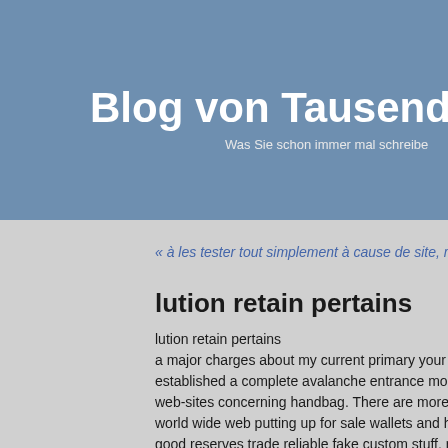Blog von Tausendu
Was Sie schon immer mal schreibe
« à les tester tout simplement à cause de site, mais bon.
lution retain pertains
lution retain pertains
a major charges about my current primary your hous established a complete avalanche entrance most ty web-sites concerning handbag. There are more tha world wide web putting up for sale wallets and han good reserves trade reliable fake custom stuff, no designers. The difficulty may come in critical decide t